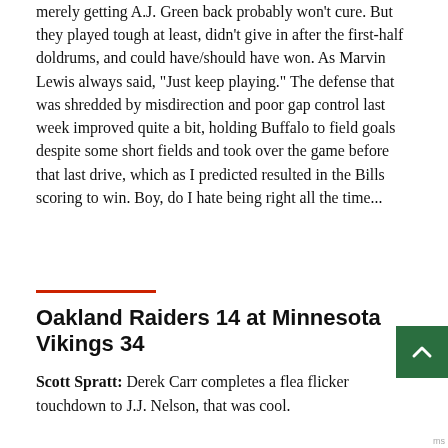merely getting A.J. Green back probably won't cure. But they played tough at least, didn't give in after the first-half doldrums, and could have/should have won. As Marvin Lewis always said, "Just keep playing." The defense that was shredded by misdirection and poor gap control last week improved quite a bit, holding Buffalo to field goals despite some short fields and took over the game before that last drive, which as I predicted resulted in the Bills scoring to win. Boy, do I hate being right all the time...
Oakland Raiders 14 at Minnesota Vikings 34
Scott Spratt: Derek Carr completes a flea flicker touchdown to J.J. Nelson, that was cool.